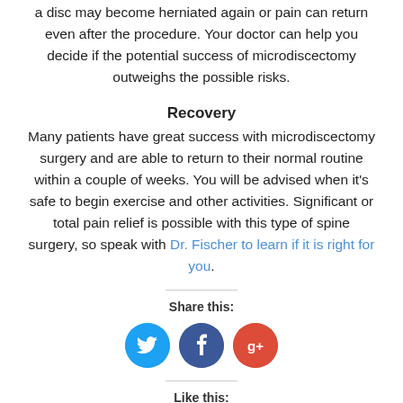a disc may become herniated again or pain can return even after the procedure. Your doctor can help you decide if the potential success of microdiscectomy outweighs the possible risks.
Recovery
Many patients have great success with microdiscectomy surgery and are able to return to their normal routine within a couple of weeks. You will be advised when it's safe to begin exercise and other activities. Significant or total pain relief is possible with this type of spine surgery, so speak with Dr. Fischer to learn if it is right for you.
Share this:
[Figure (infographic): Social sharing icons: Twitter (blue circle with bird), Facebook (dark blue circle with f), Google+ (red circle with g+)]
Like this: